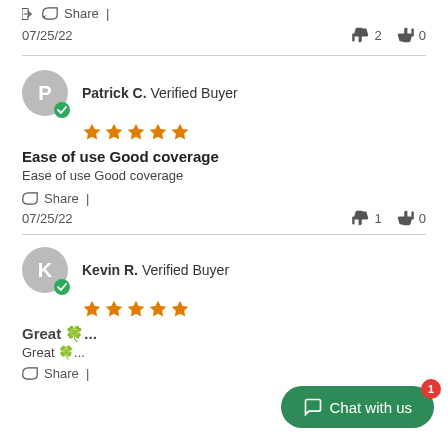Share |
07/25/22   👍 2   👎 0
Patrick C. Verified Buyer ★★★★★
Ease of use Good coverage
Ease of use Good coverage
Share |
07/25/22   👍 1   👎 0
Kevin R. Verified Buyer ★★★★★
Great 🍀...
Great 🍀...
Share |